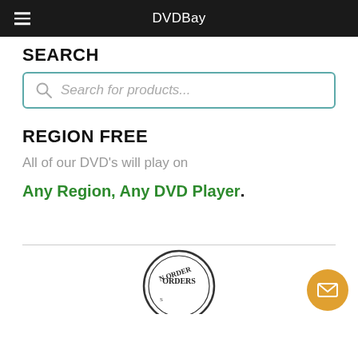DVDBay
SEARCH
[Figure (screenshot): Search input box with magnifying glass icon and placeholder text 'Search for products...']
REGION FREE
All of our DVD's will play on
Any Region, Any DVD Player.
[Figure (illustration): Partial circular stamp/seal graphic at bottom center with text 'ORDERS']
[Figure (other): Orange circular button with envelope/mail icon in bottom right corner]